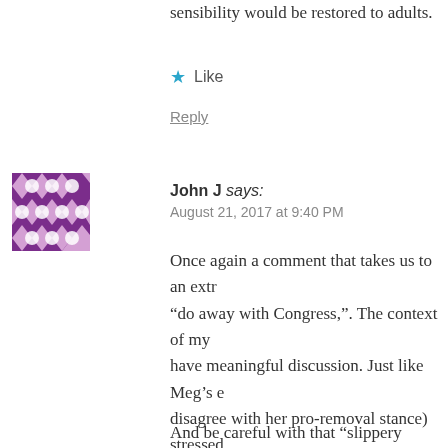sensibility would be restored to adults.
★ Like
Reply
John J says: August 21, 2017 at 9:40 PM
[Figure (illustration): Avatar image with purple geometric pattern (floral/diamond mosaic design on purple background)]
Once again a comment that takes us to an extr“do away with Congress,”. The context of my have meaningful discussion. Just like Meg’s e disagree with her pro-removal stance) stressed simply asking for honest and substantive discu national attention. I would have liked the oppo member know my views and give him or her t constituents. Perhaps he would have pushed fo doing so perhaps we can learn from each othe
And be careful with that “slippery slope” argu